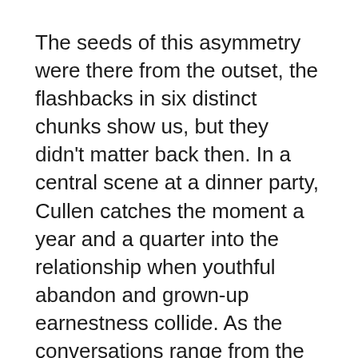The seeds of this asymmetry were there from the outset, the flashbacks in six distinct chunks show us, but they didn't matter back then. In a central scene at a dinner party, Cullen catches the moment a year and a quarter into the relationship when youthful abandon and grown-up earnestness collide. As the conversations range from the male gaze to penis size, up and down the scales, Jenna finds herself backed into a corner, defending both herself and Leon when the subject of open relationships comes up, while he takes a back seat. Leon and Jenna's relationship has plenty of time to run but something already isn't right.
This pivotal scene gives Maslany all the